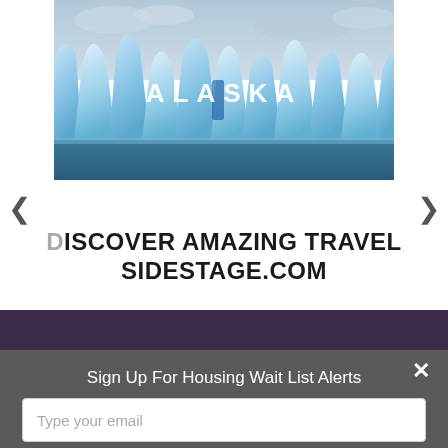[Figure (photo): Glacier ice formations with 'ALASKA' text overlaid in white letters, scenic blue glacier landscape with cloudy sky]
< >
DISCOVER AMAZING TRAVEL SIDESTAGE.COM
Housing (partial text cut off)
Sign Up For Housing Wait List Alerts
Type your email
Sign Up